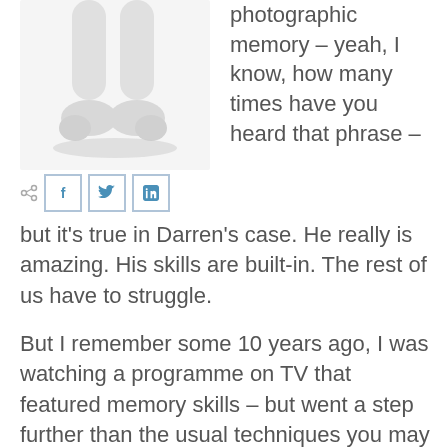[Figure (illustration): White 3D cartoon figure (lower body/legs visible) with social sharing icons (Facebook, Twitter, LinkedIn) below]
photographic memory – yeah, I know, how many times have you heard that phrase –
but it's true in Darren's case. He really is amazing. His skills are built-in. The rest of us have to struggle.
But I remember some 10 years ago, I was watching a programme on TV that featured memory skills – but went a step further than the usual techniques you may have already heard of...
Now I tried some of these, and although would